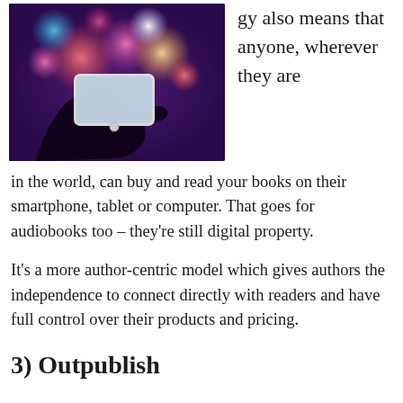[Figure (photo): A hand holding a smartphone against a colorful bokeh background with pink, orange, teal, and white light circles]
gy also means that anyone, wherever they are in the world, can buy and read your books on their smartphone, tablet or computer. That goes for audiobooks too – they're still digital property.
It's a more author-centric model which gives authors the independence to connect directly with readers and have full control over their products and pricing.
3) Outpublish...